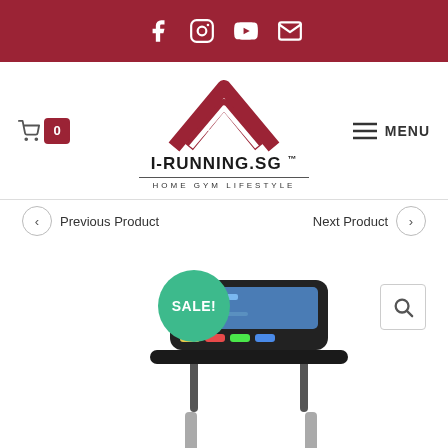Social media icons: Facebook, Instagram, YouTube, Email
[Figure (logo): I-RUNNING.SG Home Gym Lifestyle logo with red chevron/arrow mark]
Cart: 0 | MENU
Previous Product
Next Product
[Figure (photo): Treadmill with SALE! badge, showing console/display panel and handlebars on silver frame]